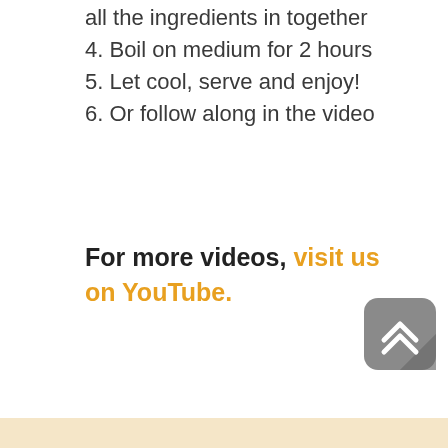all the ingredients in together
4. Boil on medium for 2 hours
5. Let cool, serve and enjoy!
6. Or follow along in the video
For more videos, visit us on YouTube.
[Figure (illustration): A rounded square grey button with a double upward chevron arrow icon, used as a scroll-to-top button.]